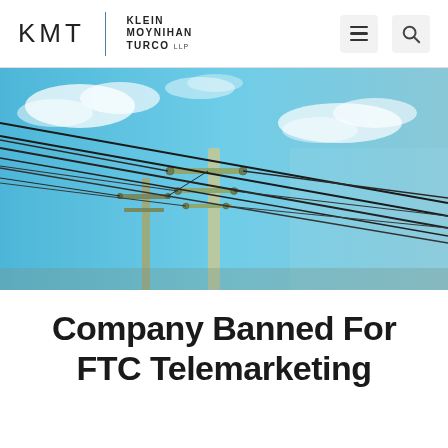KMT | KLEIN MOYNIHAN TURCO LLP
[Figure (photo): Upward-angle photograph of utility/telephone poles with power lines against a blue sky with light clouds]
Company Banned For FTC Telemarketing